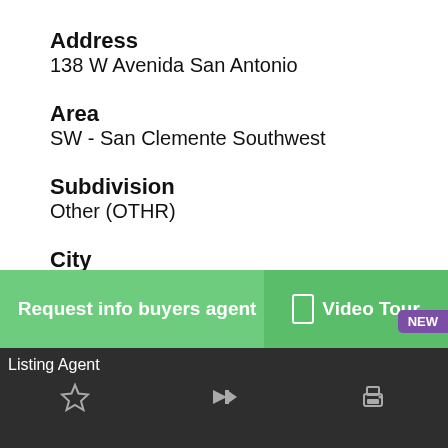Address
138 W Avenida San Antonio
Area
SW - San Clemente Southwest
Subdivision
Other (OTHR)
City
San Clemente
County
Orange
Request info buyers agent
Video Tour
Listing Agent